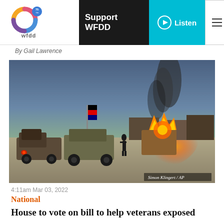WFDD 75th anniversary logo | Support WFDD | Listen button | Hamburger menu
By Gail Lawrence
[Figure (photo): Nighttime/dusk military scene in Afghanistan showing vehicles, an Afghan flag, fire and smoke in the background. Photo credit: Simon Klingert / AP]
Simon Klingert / AP
4:11am Mar 03, 2022
National
House to vote on bill to help veterans exposed